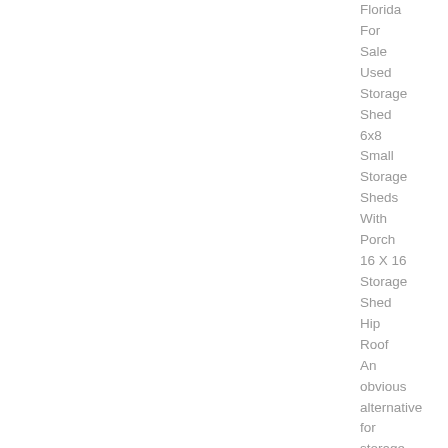Florida For Sale Used Storage Shed 6x8 Small Storage Sheds With Porch 16 X 16 Storage Shed Hip Roof An obvious alternative for storage space is a garage, but what whether your garage does not have space, or maybe you don t have a garage...
Read more
Free Small House Plans For Ideas or Just Dreaming
Since the kitchen was small to begin with 13 6 x 10 0 and included a set of stairs to the left, these re-purposed plans have knocked out those stairs and made the house one level Now, the kitchen is ....
[Figure (photo): Photo of several people standing together, viewed from behind, in an indoor or outdoor setting]
Read more
[Figure (photo): Partial photo thumbnail showing what appears to be a roof structure, warm/golden tones]
Small House Plans